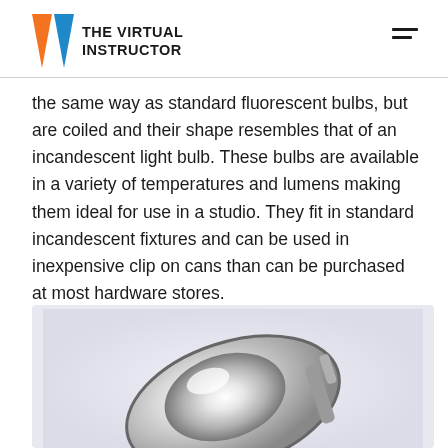THE VIRTUAL INSTRUCTOR
the same way as standard fluorescent bulbs, but are coiled and their shape resembles that of an incandescent light bulb. These bulbs are available in a variety of temperatures and lumens making them ideal for use in a studio. They fit in standard incandescent fixtures and can be used in inexpensive clip on cans than can be purchased at most hardware stores.
[Figure (photo): Close-up photo of a metallic clip-on lamp/reflector can against a light background]